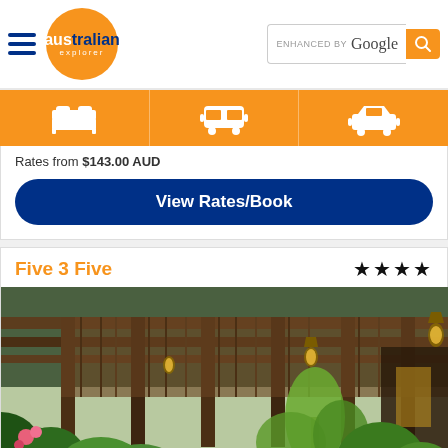Australian Explorer — ENHANCED BY Google search bar
[Figure (screenshot): Orange navigation bar with hotel/accommodation, bus/transport, and car icons]
Rates from $143.00 AUD
View Rates/Book
Five 3 Five
★★★★ (4 stars)
[Figure (photo): Exterior photo of Five 3 Five hotel showing tropical garden with lush green plants, pink flowers, wooden structure with pillars, and warm lighting lanterns]